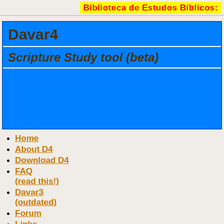Biblioteca de Estudos Bíblicos:
Davar4
Scripture Study tool (beta)
[Figure (other): Blue banner/content area placeholder]
Home
About D4
Download D4
FAQ (read this!)
Davar3 (outdated)
Forum
Links
Contact